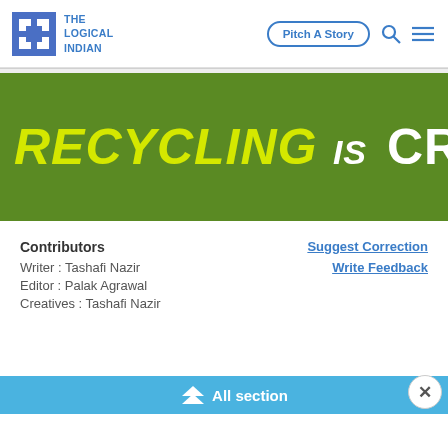THE LOGICAL INDIAN | Pitch A Story
[Figure (screenshot): Hero banner with green background showing text RECYCLING IS CREATIN (truncated) in yellow and white bold italic letters]
Contributors
Writer : Tashafi Nazir
Editor : Palak Agrawal
Creatives : Tashafi Nazir
Suggest Correction
Write Feedback
All section